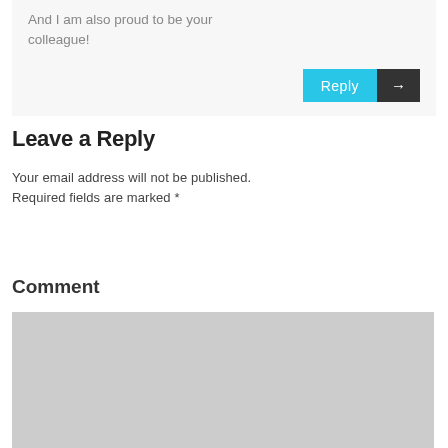And I am also proud to be your colleague!
Reply →
Leave a Reply
Your email address will not be published. Required fields are marked *
Comment